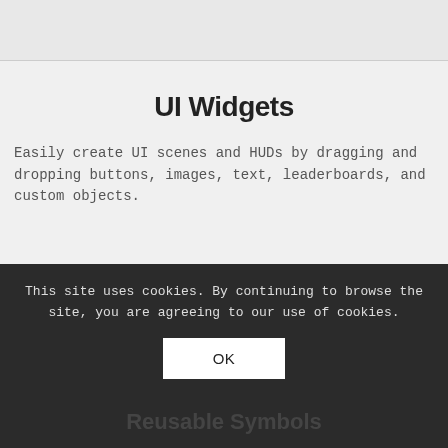UI Widgets
Easily create UI scenes and HUDs by dragging and dropping buttons, images, text, leaderboards, and custom objects.
This site uses cookies. By continuing to browse the site, you are agreeing to our use of cookies.
OK
Reusable Symbols